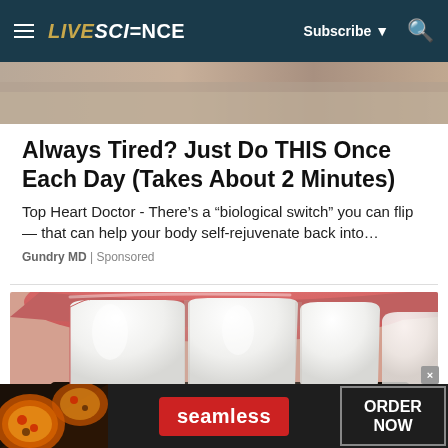LIVESCIENCE | Subscribe | Search
[Figure (photo): Partial person photo strip at top of page]
Always Tired? Just Do THIS Once Each Day (Takes About 2 Minutes)
Top Heart Doctor - There's a “biological switch” you can flip — that can help your body self-rejuvenate back into…
Gundry MD | Sponsored
[Figure (photo): Close-up macro photo of white human teeth and pink gums]
[Figure (infographic): Seamless food delivery advertisement banner with pizza image, seamless logo button, and ORDER NOW button]